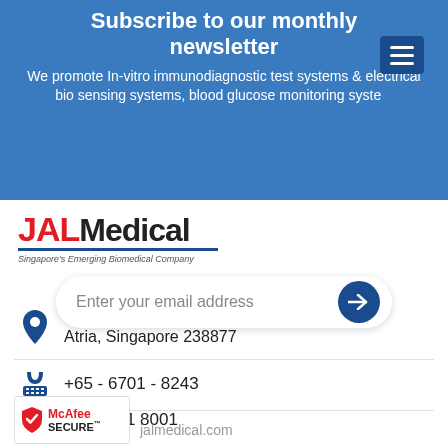Subscribe to our monthly newsletter
We promote In-vitro immunodiagnostic test systems & electrical bio sensing systems, blood glucose monitoring syste…
Enter your email address
[Figure (logo): JAL Medical logo with tagline: Singapore's Emerging Biomedical Company]
435 Orchard Road 11-00 Wisma Atria, Singapore 238877
+65 - 6701 - 8243
+65 6701 8001
[Figure (logo): McAfee SECURE badge]
jalmedical.com